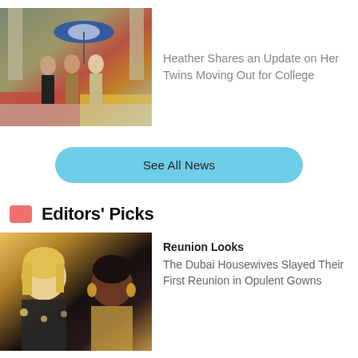[Figure (photo): Three people standing together under a blue umbrella outdoors near stairs and flowers]
Heather Shares an Update on Her Twins Moving Out for College
See All News
Editors' Picks
[Figure (photo): Two women at a glamorous event — a blonde woman on the left and a woman with gold earrings on the right]
Reunion Looks
The Dubai Housewives Slayed Their First Reunion in Opulent Gowns